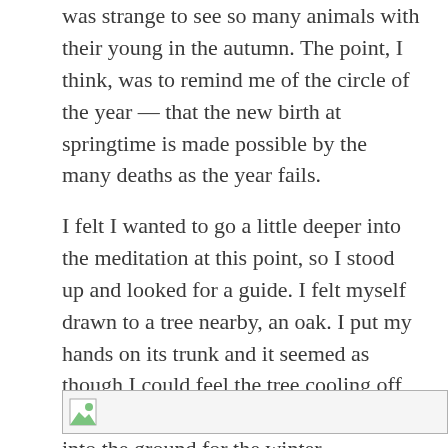was strange to see so many animals with their young in the autumn. The point, I think, was to remind me of the circle of the year — that the new birth at springtime is made possible by the many deaths as the year fails.
I felt I wanted to go a little deeper into the meditation at this point, so I stood up and looked for a guide. I felt myself drawn to a tree nearby, an oak. I put my hands on its trunk and it seemed as though I could feel the tree cooling off, losing energy, as it drew its resources into the ground for the winter.
[Figure (photo): Partially loaded or broken image placeholder shown at the bottom of the page]